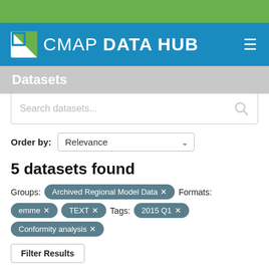CMAP DATA HUB
Datasets
Search datasets...
Order by: Relevance
5 datasets found
Groups: Archived Regional Model Data ✕   Formats:
emme ✕   TEXT ✕   Tags: 2015 Q1 ✕
Conformity analysis ✕
Filter Results